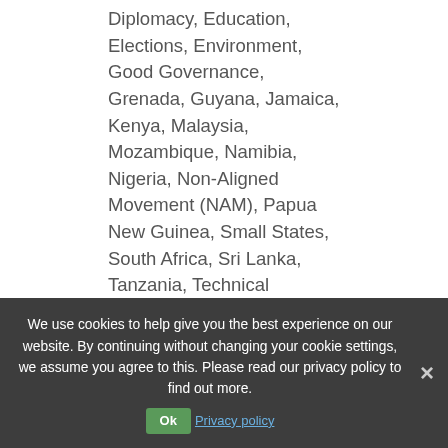Diplomacy, Education, Elections, Environment, Good Governance, Grenada, Guyana, Jamaica, Kenya, Malaysia, Mozambique, Namibia, Nigeria, Non-Aligned Movement (NAM), Papua New Guinea, Small States, South Africa, Sri Lanka, Tanzania, Technical Assistance, Trinidad and Tobago, United Kingdom, United Nations, USA, Zambia, Zimbabwe (see also Rhodesia)
Download Interview Transcript. Biography: Linton, Neville, Dr. Political Scientist, University of Alberta; Graduate Institute of International Relations, University of the West Indies; Political Advisor in the secretariat set up to host the Non-Aligned Movement...
Interview with Keith Somerville
by rcraggs | Oct 26, 2019 | Apartheid, Botswana, Cold War, Diplomacy, European Economic...
We use cookies to help give you the best experience on our website. By continuing without changing your cookie settings, we assume you agree to this. Please read our privacy policy to find out more.